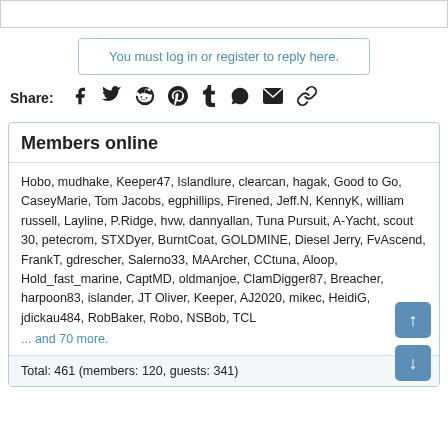You must log in or register to reply here.
Share:
Members online
Hobo, mudhake, Keeper47, Islandlure, clearcan, hagak, Good to Go, CaseyMarie, Tom Jacobs, egphillips, Firened, Jeff.N, KennyK, william russell, Layline, P.Ridge, hvw, dannyallan, Tuna Pursuit, A-Yacht, scout 30, petecrom, STXDyer, BurntCoat, GOLDMINE, Diesel Jerry, FvAscend, FrankT, gdrescher, Salerno33, MAArcher, CCtuna, Aloop, Hold_fast_marine, CaptMD, oldmanjoe, ClamDigger87, Breacher, harpoon83, islander, JT Oliver, Keeper, AJ2020, mikec, HeidiG, jdickau484, RobBaker, Robo, NSBob, TCL
... and 70 more.
Total: 461 (members: 120, guests: 341)